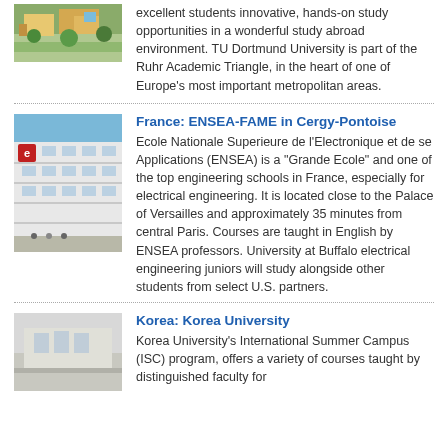[Figure (photo): Aerial/exterior view of a university campus with buildings and greenery]
excellent students innovative, hands-on study opportunities in a wonderful study abroad environment. TU Dortmund University is part of the Ruhr Academic Triangle, in the heart of one of Europe's most important metropolitan areas.
[Figure (photo): Exterior of ENSEA building with blue sky, modern white architecture]
France: ENSEA-FAME in Cergy-Pontoise
Ecole Nationale Superieure de l'Electronique et de se Applications (ENSEA) is a "Grande Ecole" and one of the top engineering schools in France, especially for electrical engineering. It is located close to the Palace of Versailles and approximately 35 minutes from central Paris. Courses are taught in English by ENSEA professors. University at Buffalo electrical engineering juniors will study alongside other students from select U.S. partners.
[Figure (photo): Exterior or campus photo for Korea University]
Korea: Korea University
Korea University's International Summer Campus (ISC) program, offers a variety of courses taught by distinguished faculty for...